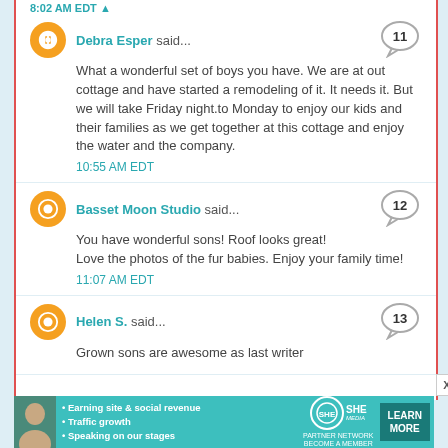Debra Esper said...
What a wonderful set of boys you have. We are at out cottage and have started a remodeling of it. It needs it. But we will take Friday night.to Monday to enjoy our kids and their families as we get together at this cottage and enjoy the water and the company.
10:55 AM EDT
Basset Moon Studio said...
You have wonderful sons! Roof looks great! Love the photos of the fur babies. Enjoy your family time!
11:07 AM EDT
Helen S. said...
Grown sons are awesome as last writer
[Figure (infographic): SHE Partner Network advertisement banner with photo of woman, bullet points about earning site & social revenue, traffic growth, speaking on our stages, SHE logo, and LEARN MORE button]